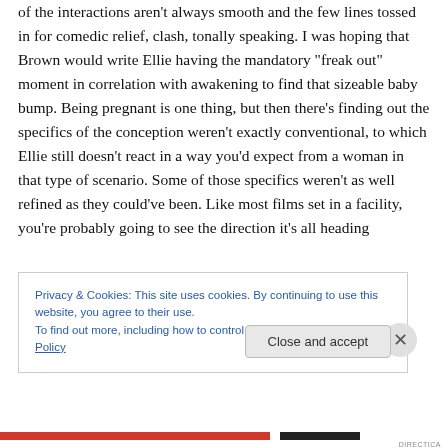of the interactions aren't always smooth and the few lines tossed in for comedic relief, clash, tonally speaking. I was hoping that Brown would write Ellie having the mandatory “freak out” moment in correlation with awakening to find that sizeable baby bump. Being pregnant is one thing, but then there’s finding out the specifics of the conception weren’t exactly conventional, to which Ellie still doesn’t react in a way you’d expect from a woman in that type of scenario. Some of those specifics weren’t as well refined as they could’ve been. Like most films set in a facility, you’re probably going to see the direction it’s all heading
Privacy & Cookies: This site uses cookies. By continuing to use this website, you agree to their use.
To find out more, including how to control cookies, see here: Cookie Policy